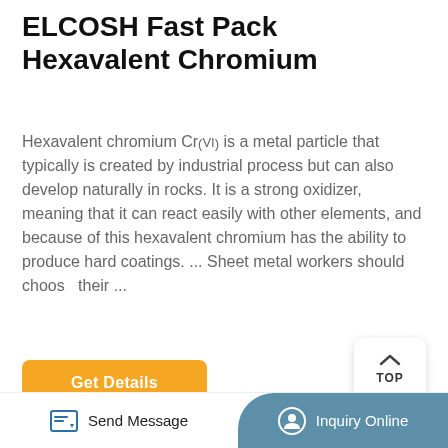ELCOSH Fast Pack Hexavalent Chromium
Hexavalent chromium Cr(VI) is a metal particle that typically is created by industrial process but can also develop naturally in rocks. It is a strong oxidizer, meaning that it can react easily with other elements, and because of this hexavalent chromium has the ability to produce hard coatings. ... Sheet metal workers should choose their ...
[Figure (photo): Photo showing sheet metal and industrial equipment]
Send Message | Inquiry Online